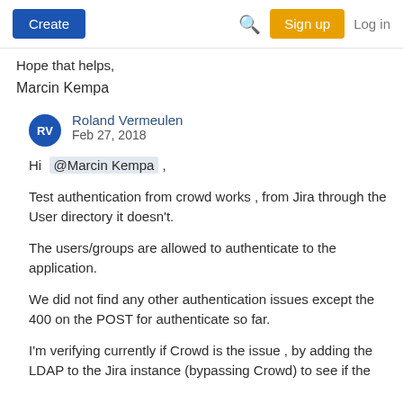Create | Search | Sign up | Log in
Hope that helps,
Marcin Kempa
Roland Vermeulen
Feb 27, 2018
Hi @Marcin Kempa ,
Test authentication from crowd works , from Jira through the User directory it doesn't.
The users/groups are allowed to authenticate to the application.
We did not find any other authentication issues except the 400 on the POST for authenticate so far.
I'm verifying currently if Crowd is the issue , by adding the LDAP to the Jira instance (bypassing Crowd) to see if the same error authentication is there.